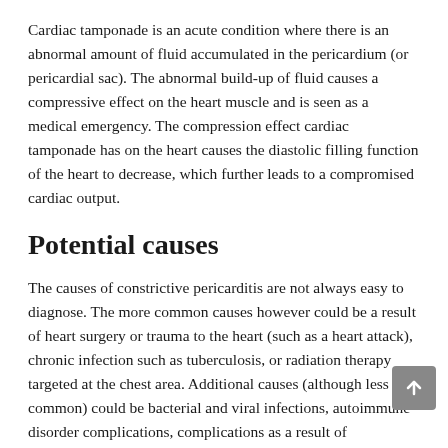Cardiac tamponade is an acute condition where there is an abnormal amount of fluid accumulated in the pericardium (or pericardial sac). The abnormal build-up of fluid causes a compressive effect on the heart muscle and is seen as a medical emergency. The compression effect cardiac tamponade has on the heart causes the diastolic filling function of the heart to decrease, which further leads to a compromised cardiac output.
Potential causes
The causes of constrictive pericarditis are not always easy to diagnose. The more common causes however could be a result of heart surgery or trauma to the heart (such as a heart attack), chronic infection such as tuberculosis, or radiation therapy targeted at the chest area. Additional causes (although less common) could be bacterial and viral infections, autoimmune disorder complications, complications as a result of medications, or certain types of cancer.
Cardiac tamponade is usually caused by trauma or acute condition...